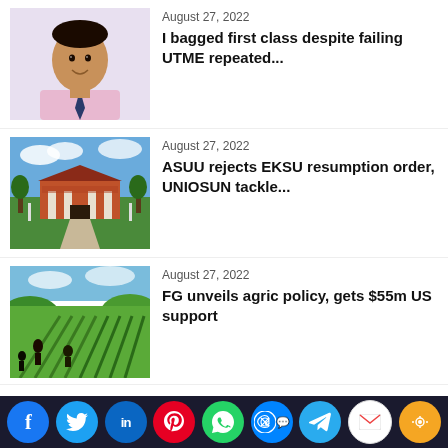[Figure (photo): Young man in pink shirt and dark tie, smiling, portrait photo]
August 27, 2022
I bagged first class despite failing UTME repeated...
[Figure (photo): Aerial view of a university campus gate with red-roofed buildings and green landscape]
August 27, 2022
ASUU rejects EKSU resumption order, UNIOSUN tackle...
[Figure (photo): Agricultural field with workers tending to rows of green crops]
August 27, 2022
FG unveils agric policy, gets $55m US support